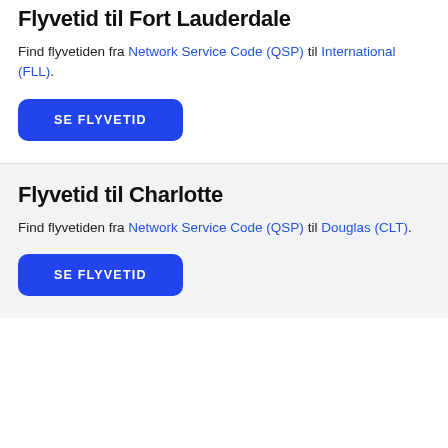Flyvetid til Fort Lauderdale
Find flyvetiden fra Network Service Code (QSP) til International (FLL).
SE FLYVETID
Flyvetid til Charlotte
Find flyvetiden fra Network Service Code (QSP) til Douglas (CLT).
SE FLYVETID